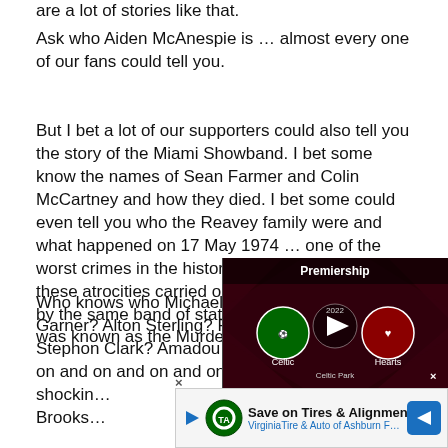are a lot of stories like that.
Ask who Aiden McAnespie is … almost every one of our fans could tell you.
But I bet a lot of our supporters could also tell you the story of the Miami Showband. I bet some know the names of Sean Farmer and Colin McCartney and how they died. I bet some could even tell you who the Reavey family were and what happened on 17 May 1974 … one of the worst crimes in the history of the Troubles … all these atrocities carried out in a two-year period, by the same band of state backed thugs, in what was known as the Murder Triangle.
Who knows who Michael Brow… Garner? Alton Sterling? Philan… Stephon Clark? Amadou Diallo… on and on and on and on and o… shocki… ard Brooks… s
[Figure (screenshot): Video overlay showing Celtic vs Hearts Premiership match at Celtic Park, 2022, with play button]
[Figure (screenshot): Advertisement banner: Save on Tires & Alignment – VirginiaTire & Auto of Ashburn Fa., with logo and navigation arrow icon]